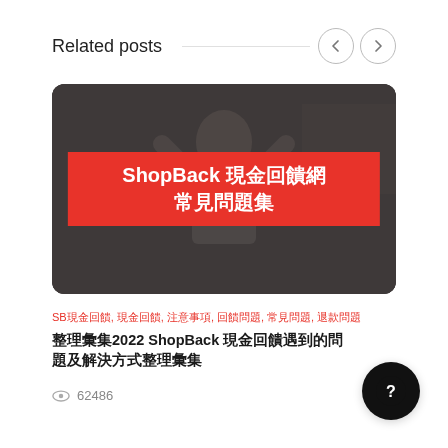Related posts
[Figure (photo): ShopBack promotional card image showing a woman with hands on head (stressed/surprised), with dark overlay and red banner text reading 'ShopBack 現金回饋網 常見問題集']
SB現金回饋, 現金回饋, 注意事項, 回饋問題, 常見問題, 退款問題
整理彙集2022 ShopBack 現金回饋遇到的問題及解決方式整理彙集
62486